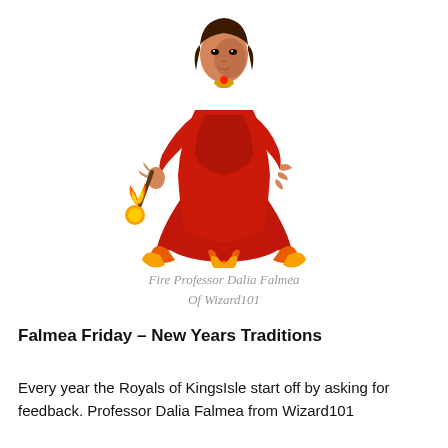[Figure (illustration): A female fantasy game character (Professor Dalia Falmea) dressed in a red flame-patterned gown, holding a staff with a flaming orb. Flames emerge from the bottom of her dress.]
Fire Professor Dalia Falmea
Of Wizard101
Falmea Friday – New Years Traditions
Every year the Royals of KingsIsle start off by asking for feedback. Professor Dalia Falmea from Wizard101